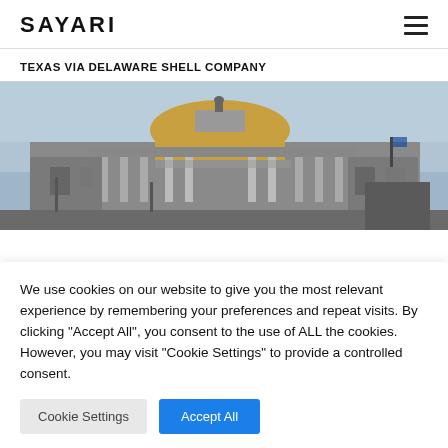SAYARI
TEXAS VIA DELAWARE SHELL COMPANY
[Figure (photo): Photograph of an ornate neoclassical building with a gold dome, likely the Palacio de Bellas Artes in Mexico City, under a cloudy sky]
We use cookies on our website to give you the most relevant experience by remembering your preferences and repeat visits. By clicking "Accept All", you consent to the use of ALL the cookies. However, you may visit "Cookie Settings" to provide a controlled consent.